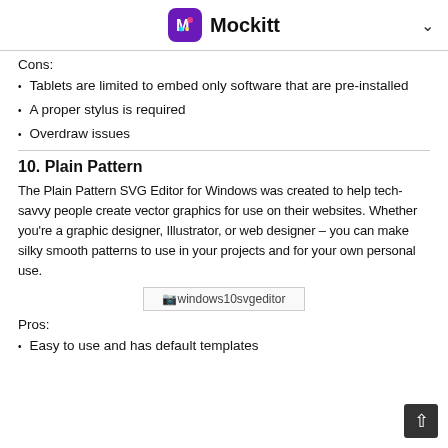Mockitt
Cons:
Tablets are limited to embed only software that are pre-installed
A proper stylus is required
Overdraw issues
10. Plain Pattern
The Plain Pattern SVG Editor for Windows was created to help tech-savvy people create vector graphics for use on their websites. Whether you're a graphic designer, Illustrator, or web designer – you can make silky smooth patterns to use in your projects and for your own personal use.
[Figure (screenshot): windows10 svg editor placeholder image]
Pros:
Easy to use and has default templates